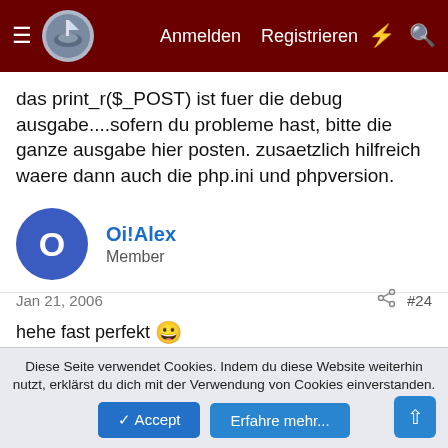Anmelden  Registrieren
das print_r($_POST) ist fuer die debug ausgabe....sofern du probleme hast, bitte die ganze ausgabe hier posten. zusaetzlich hilfreich waere dann auch die php.ini und phpversion.
Oi!Alex
Member
Jan 21, 2006  #24
hehe fast perfekt 😀

<form name="logform" method="post" action="">

ersetzen durch
Diese Seite verwendet Cookies. Indem du diese Website weiterhin nutzt, erklärst du dich mit der Verwendung von Cookies einverstanden.